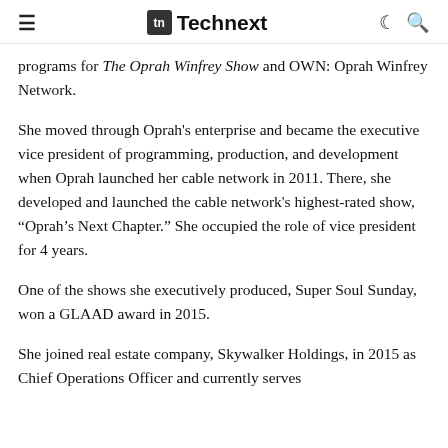Technext
programs for The Oprah Winfrey Show and OWN: Oprah Winfrey Network.
She moved through Oprah's enterprise and became the executive vice president of programming, production, and development when Oprah launched her cable network in 2011. There, she developed and launched the cable network's highest-rated show, “Oprah’s Next Chapter.” She occupied the role of vice president for 4 years.
One of the shows she executively produced, Super Soul Sunday, won a GLAAD award in 2015.
She joined real estate company, Skywalker Holdings, in 2015 as Chief Operations Officer and currently serves